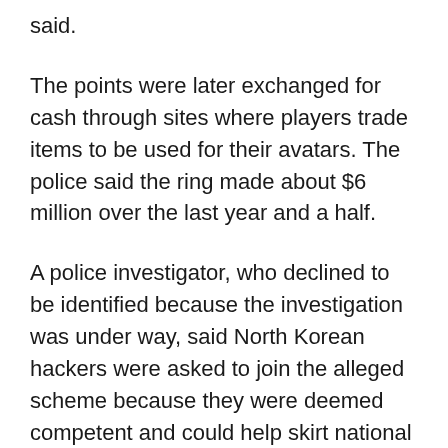said.
The points were later exchanged for cash through sites where players trade items to be used for their avatars. The police said the ring made about $6 million over the last year and a half.
A police investigator, who declined to be identified because the investigation was under way, said North Korean hackers were asked to join the alleged scheme because they were deemed competent and could help skirt national legal boundaries.
The police pointed to North’s Korea Computer Center as the alleged culprit. Set up in 1990, the center has 1,200 experts developing computer software and